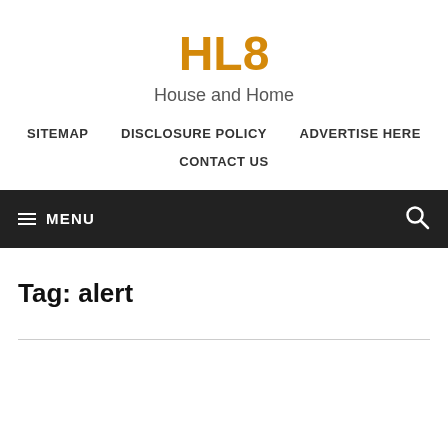HL8
House and Home
SITEMAP   DISCLOSURE POLICY   ADVERTISE HERE   CONTACT US
≡ MENU
Tag: alert